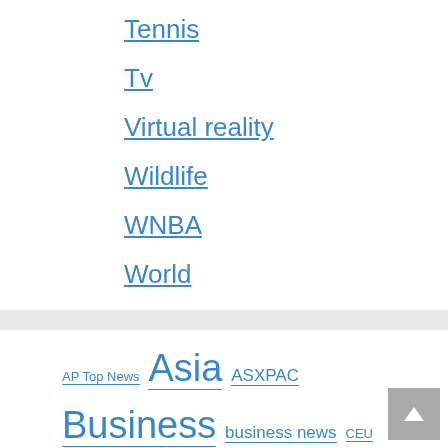Tennis
Tv
Virtual reality
Wildlife
WNBA
World
AP Top News  Asia  ASXPAC  Business  business news  CEU  com  Command  CWP  daily Mail  dcc  economics  Economie  EMRG  entertainment  Europe  football  GEN  golf  health  Motley asshole  MTPIX  MTVID